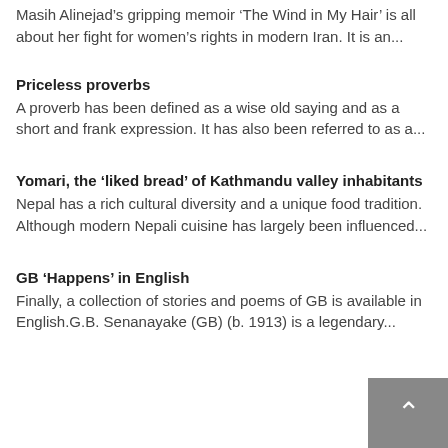Masih Alinejad's gripping memoir 'The Wind in My Hair' is all about her fight for women's rights in modern Iran. It is an...
Priceless proverbs
A proverb has been defined as a wise old saying and as a short and frank expression. It has also been referred to as a...
Yomari, the 'liked bread' of Kathmandu valley inhabitants
Nepal has a rich cultural diversity and a unique food tradition. Although modern Nepali cuisine has largely been influenced...
GB ‘Happens’ in English
Finally, a collection of stories and poems of GB is available in English.G.B. Senanayake (GB) (b. 1913) is a legendary...